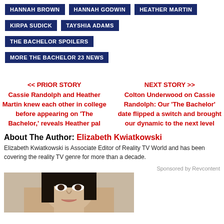HANNAH BROWN
HANNAH GODWIN
HEATHER MARTIN
KIRPA SUDICK
TAYSHIA ADAMS
THE BACHELOR SPOILERS
MORE THE BACHELOR 23 NEWS
<< PRIOR STORY
Cassie Randolph and Heather Martin knew each other in college before appearing on 'The Bachelor,' reveals Heather pal
NEXT STORY >>
Colton Underwood on Cassie Randolph: Our 'The Bachelor' date flipped a switch and brought our dynamic to the next level
About The Author: Elizabeth Kwiatkowski
Elizabeth Kwiatkowski is Associate Editor of Reality TV World and has been covering the reality TV genre for more than a decade.
Sponsored by Revcontent
[Figure (photo): Photo of a person with dark hair, cropped at bottom of page]